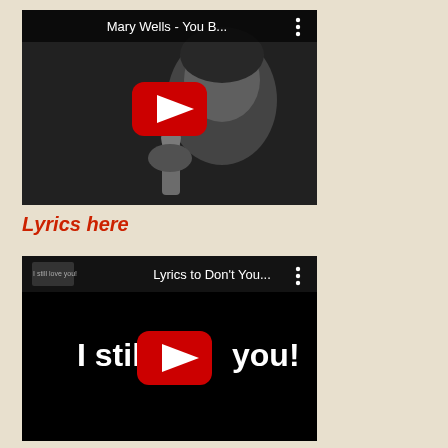[Figure (screenshot): YouTube video thumbnail for Mary Wells - You B... showing a black and white photo of a woman singing into a microphone with a red YouTube play button overlay and three-dot menu icon]
Lyrics here
[Figure (screenshot): YouTube video thumbnail for Lyrics to Don't You... showing black background with text 'I still love you!' and large white text 'I still you!' with a red YouTube play button in the middle and three-dot menu icon]